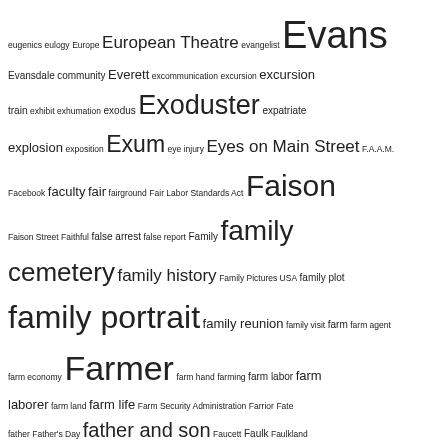eugenics eulogy Europe European Theatre evangelist Evans Evansdale community Everett excommunication excursion excursion train exhibit exhumation exodus Exoduster expatriate explosion exposition Exum eye injury Eyes on Main Street F.A.A.M. Facebook faculty fair fairground Fair Labor Standards Act Faison Faison Street Faithful false arrest false report Family family cemetery family history Family Pictures USA family plot family portrait family reunion family visit farm farm agent farm economy Farmer farm hand farming farm labor farm laborer farm land farm life Farm Security Administration Farrior Fate father Father's Day father and son Faucett Faulk Faulkland Faulkner Fayetteville State Teachers College Fayetteville State University federal court Federal Writers Project Federated Club Federation of Colored Women's Clubs Felman Ferguson fertilizer Field fieldhand Fields fight fight card fighting filling station financial statement Finch Finch's Mill Road Finch Street fine fire fire company fireman fireplace First Ward Fisher fishing fishing license fish market Fitts Five Points Flanagan Fleming Fleming